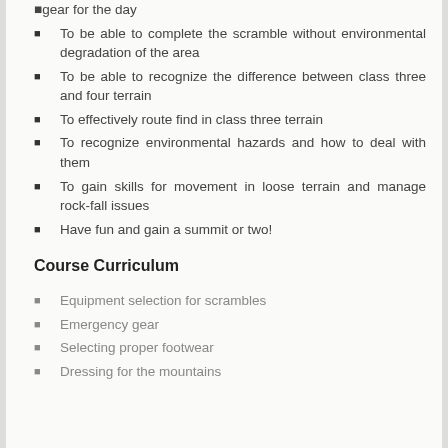gear for the day
To be able to complete the scramble without environmental degradation of the area
To be able to recognize the difference between class three and four terrain
To effectively route find in class three terrain
To recognize environmental hazards and how to deal with them
To gain skills for movement in loose terrain and manage rock-fall issues
Have fun and gain a summit or two!
Course Curriculum
Equipment selection for scrambles
Emergency gear
Selecting proper footwear
Dressing for the mountains